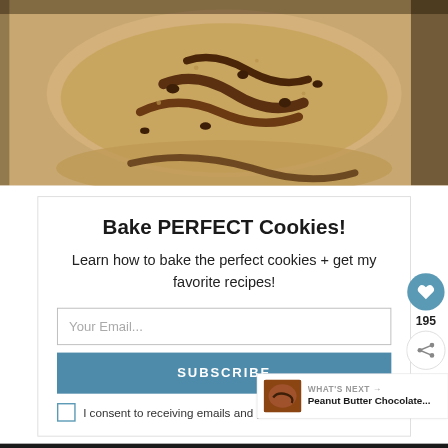[Figure (photo): Close-up photo of chocolate chip cookies stacked on top of each other]
Bake PERFECT Cookies!
Learn how to bake the perfect cookies + get my favorite recipes!
Your Email...
SUBSCRIBE
I consent to receiving emails and personalized ads.
195
WHAT'S NEXT → Peanut Butter Chocolate...
Wi... nks to try... p ... a
Firestone
Take Control Of Your Vehicle
DOWNLOAD